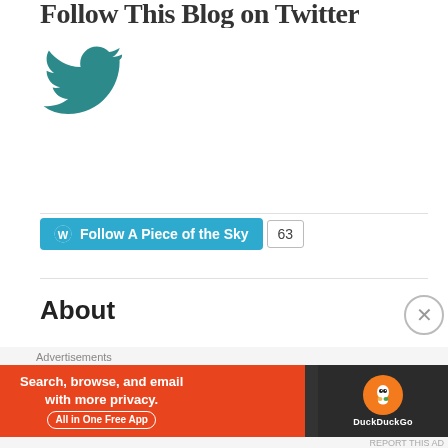Follow This Blog on Twitter
[Figure (logo): Twitter bird logo in teal color]
[Figure (other): WordPress Follow button for 'A Piece of the Sky' with follower count of 63]
About
Published in The Stonefence Review, the premier journal of arts and letters at Dartmouth College.
Scholastic Art & Writing Award Winner
[Figure (other): DuckDuckGo advertisement banner: Search, browse, and email with more privacy. All in One Free App]
Advertisements